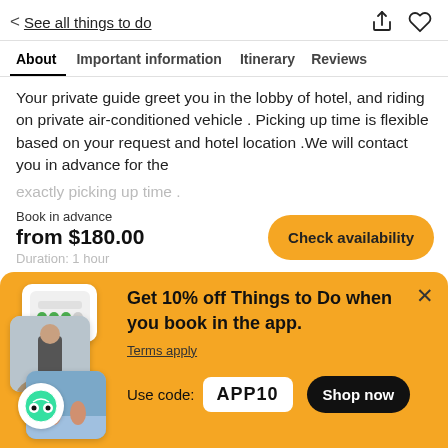< See all things to do
About  Important information  Itinerary  Reviews
Your private guide greet you in the lobby of hotel, and riding on private air-conditioned vehicle . Picking up time is flexible based on your request and hotel location .We will contact you in advance for the exactly picking up time .
Book in advance
from $180.00
Duration: 1 hour
Get 10% off Things to Do when you book in the app.
Terms apply
Use code: APP10
[Figure (screenshot): App promotional banner with phone screenshot cards and TripAdvisor badge]
Shop now